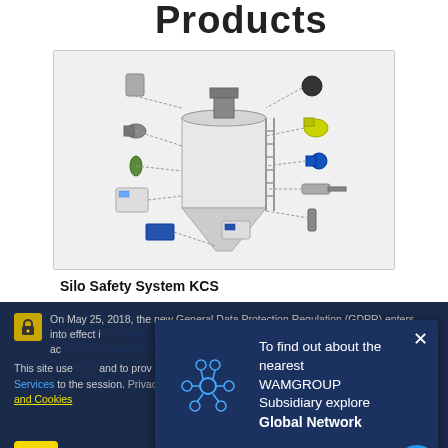Products
[Figure (engineering-diagram): Exploded diagram of a Silo Safety System KCS showing a large industrial silo with various components such as sensors, valves, fittings, control panels, and accessories arranged around it with lines indicating attachment points.]
Silo Safety System KCS
On May 25, 2018, the new General Data Protection Regulation (GDPR) enters into effect in... policy in ac...
This site use... and to prov... this page or... to learn mo... and Cookies
To find out about the nearest WAMGROUP Subsidiary explore Global Network
Hey, we are live 24/7. How may I help you?